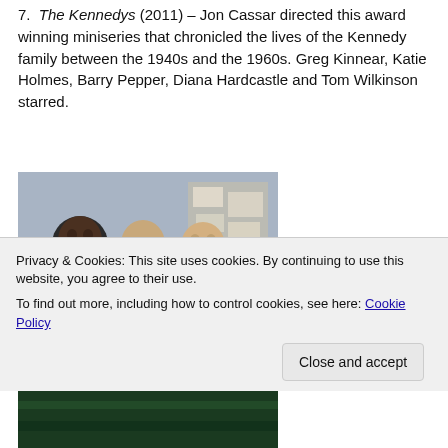7. The Kennedys (2011) – Jon Cassar directed this award winning miniseries that chronicled the lives of the Kennedy family between the 1940s and the 1960s. Greg Kinnear, Katie Holmes, Barry Pepper, Diana Hardcastle and Tom Wilkinson starred.
[Figure (photo): A black and white or slightly color-tinted group photo of five men in suits, likely from the early 1960s era, posed together in front of a blue background with papers on a bulletin board.]
Privacy & Cookies: This site uses cookies. By continuing to use this website, you agree to their use.
To find out more, including how to control cookies, see here: Cookie Policy
Close and accept